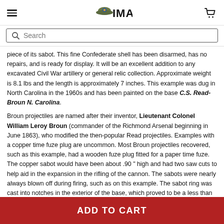IMA
piece of its sabot. This fine Confederate shell has been disarmed, has no repairs, and is ready for display. It will be an excellent addition to any excavated Civil War artillery or general relic collection. Approximate weight is 8.1 lbs and the length is approximately 7 inches. This example was dug in North Carolina in the 1960s and has been painted on the base C.S. Read-Broun N. Carolina.
Broun projectiles are named after their inventor, Lieutenant Colonel William Leroy Broun (commander of the Richmond Arsenal beginning in June 1863), who modified the then-popular Read projectiles. Examples with a copper time fuze plug are uncommon. Most Broun projectiles recovered, such as this example, had a wooden fuze plug fitted for a paper time fuze. The copper sabot would have been about .90 " high and had two saw cuts to help aid in the expansion in the rifling of the cannon. The sabots were nearly always blown off during firing, such as on this example. The sabot ring was cast into notches in the exterior of the base, which proved to be a less than effective method of attachment.
ADD TO CART